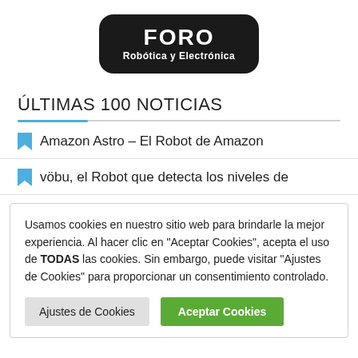[Figure (logo): FORO Robótica y Electrónica logo — dark rounded rectangle with white bold text]
ÚLTIMAS 100 NOTICIAS
Amazon Astro – El Robot de Amazon
vöbu, el Robot que detecta los niveles de
Usamos cookies en nuestro sitio web para brindarle la mejor experiencia. Al hacer clic en "Aceptar Cookies", acepta el uso de TODAS las cookies. Sin embargo, puede visitar "Ajustes de Cookies" para proporcionar un consentimiento controlado.
Ajustes de Cookies | Aceptar Cookies